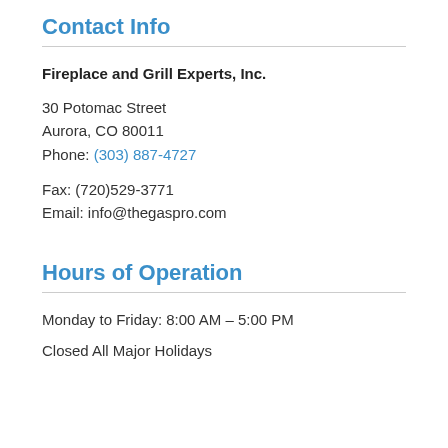Contact Info
Fireplace and Grill Experts, Inc.
30 Potomac Street
Aurora, CO 80011
Phone: (303) 887-4727
Fax: (720)529-3771
Email: info@thegaspro.com
Hours of Operation
Monday to Friday: 8:00 AM – 5:00 PM
Closed All Major Holidays